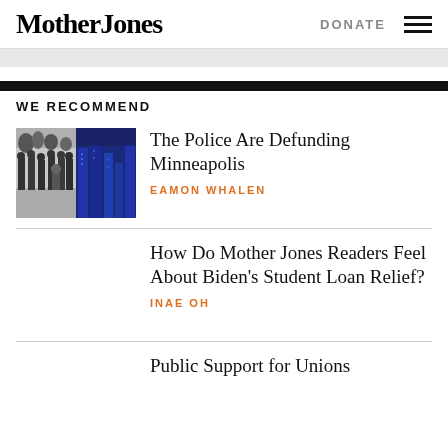Mother Jones | DONATE
WE RECOMMEND
[Figure (photo): Two-panel image: left panel shows black-and-white photo of police officers in a line; right panel shows blue-tinted cityscape of Minneapolis]
The Police Are Defunding Minneapolis
EAMON WHALEN
How Do Mother Jones Readers Feel About Biden’s Student Loan Relief?
INAE OH
Public Support for Unions